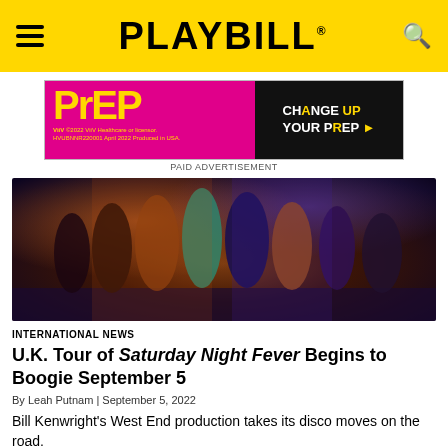PLAYBILL
[Figure (photo): Pink and black advertisement banner for PrEP medication. Left side is magenta/pink with yellow 'PrEP' logo text and small ViiV Healthcare disclaimer text. Right side is black with white and yellow text reading 'CHANGE UP YOUR PrEP' with an arrow.]
PAID ADVERTISEMENT
[Figure (photo): Stage production photo of multiple dancers in 1970s-style clothing performing energetically on stage. Colorful disco-era costumes including bell-bottoms, bright tops. Dramatic stage lighting in warm and cool tones.]
INTERNATIONAL NEWS
U.K. Tour of Saturday Night Fever Begins to Boogie September 5
By Leah Putnam | September 5, 2022
Bill Kenwright's West End production takes its disco moves on the road.